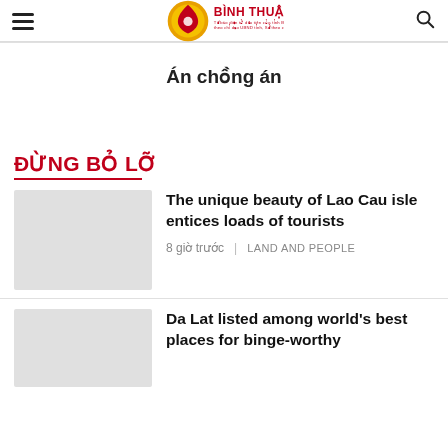Bình Thuận Online
Án chồng án
ĐỪNG BỎ LỠ
The unique beauty of Lao Cau isle entices loads of tourists
8 giờ trước   LAND AND PEOPLE
Da Lat listed among world's best places for binge-worthy